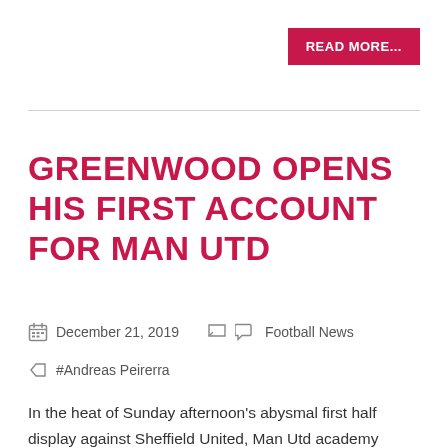READ MORE...
GREENWOOD OPENS HIS FIRST ACCOUNT FOR MAN UTD
December 21, 2019   Football News
#Andreas Peirerra
In the heat of Sunday afternoon's abysmal first half display against Sheffield United, Man Utd academy products were